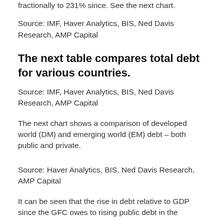fractionally to 231% since. See the next chart.
Source: IMF, Haver Analytics, BIS, Ned Davis Research, AMP Capital
The next table compares total debt for various countries.
Source: IMF, Haver Analytics, BIS, Ned Davis Research, AMP Capital
The next chart shows a comparison of developed world (DM) and emerging world (EM) debt – both public and private.
Source: Haver Analytics, BIS, Ned Davis Research, AMP Capital
It can be seen that the rise in debt relative to GDP since the GFC owes to rising public debt in the